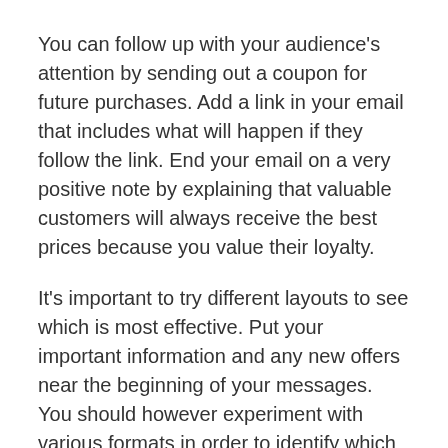You can follow up with your audience's attention by sending out a coupon for future purchases. Add a link in your email that includes what will happen if they follow the link. End your email on a very positive note by explaining that valuable customers will always receive the best prices because you value their loyalty.
It's important to try different layouts to see which is most effective. Put your important information and any new offers near the beginning of your messages. You should however experiment with various formats in order to identify which format elicits the most responses. After you have identified which format is most effective, you should continue utilizing it. This will ensure your customers will know what they are getting from your emails and where to go when they need more information.